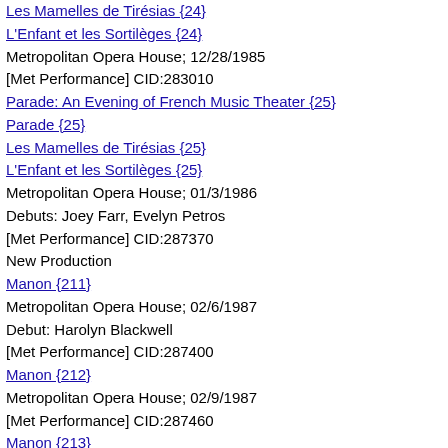Les Mamelles de Tirésias {24}
L'Enfant et les Sortilèges {24}
Metropolitan Opera House; 12/28/1985
[Met Performance] CID:283010
Parade: An Evening of French Music Theater {25}
Parade {25}
Les Mamelles de Tirésias {25}
L'Enfant et les Sortilèges {25}
Metropolitan Opera House; 01/3/1986
Debuts: Joey Farr, Evelyn Petros
[Met Performance] CID:287370
New Production
Manon {211}
Metropolitan Opera House; 02/6/1987
Debut: Harolyn Blackwell
[Met Performance] CID:287400
Manon {212}
Metropolitan Opera House; 02/9/1987
[Met Performance] CID:287460
Manon {213}
Metropolitan Opera House; 02/14/1987
[Met Performance] CID:287490
Manon {214}
Metropolitan Opera House; 02/18/1987